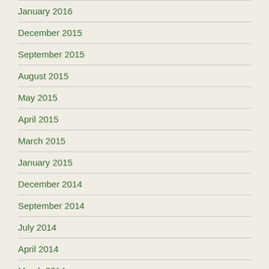January 2016
December 2015
September 2015
August 2015
May 2015
April 2015
March 2015
January 2015
December 2014
September 2014
July 2014
April 2014
March 2014
February 2014